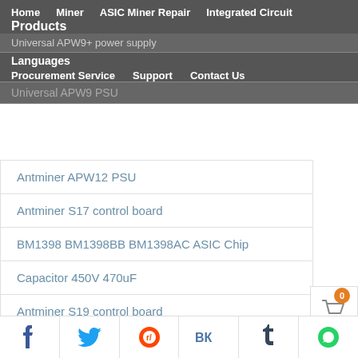Home  Miner  ASIC Miner Repair  Integrated Circuit  Products  Procurement Service  Support  Contact Us  Languages
Universal APW9+ power supply
Universal APW9 PSU
Antminer APW12 PSU
Antminer S17 control board
BM1398 BM1398BB BM1398AC ASIC Chip
Capacitor 450V 470uF
Antminer S19 control board
Antminer S17 control board
f  Twitter  Reddit  VK  Tumblr  WhatsApp